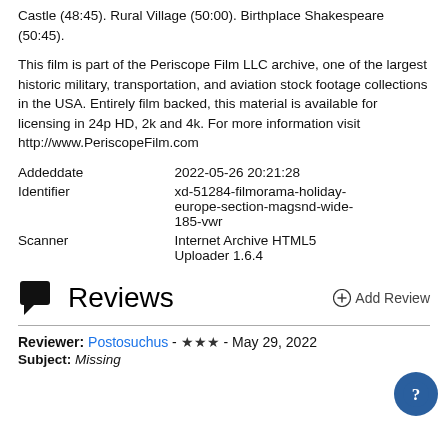Castle (48:45). Rural Village (50:00). Birthplace Shakespeare (50:45).
This film is part of the Periscope Film LLC archive, one of the largest historic military, transportation, and aviation stock footage collections in the USA. Entirely film backed, this material is available for licensing in 24p HD, 2k and 4k. For more information visit http://www.PeriscopeFilm.com
| Field | Value |
| --- | --- |
| Addeddate | 2022-05-26 20:21:28 |
| Identifier | xd-51284-filmorama-holiday-europe-section-magsnd-wide-185-vwr |
| Scanner | Internet Archive HTML5 Uploader 1.6.4 |
Reviews
Reviewer: Postosuchus - ★★★ - May 29, 2022